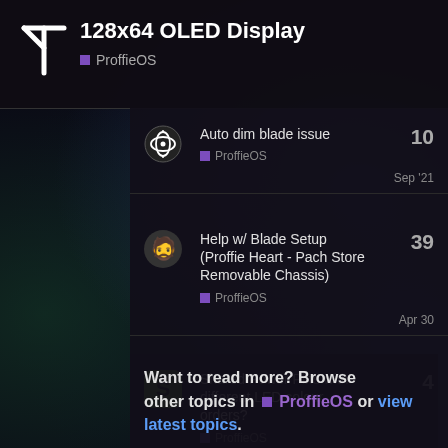128x64 OLED Display
ProffieOS
Auto dim blade issue
ProffieOS
10
Sep '21
Help w/ Blade Setup (Proffie Heart - Pach Store Removable Chassis)
ProffieOS
39
Apr 30
Shared Power Pins with different LED colour orders?
ProffieOS
4
Jun 18
Want to read more? Browse other topics in ProffieOS or view latest topics.